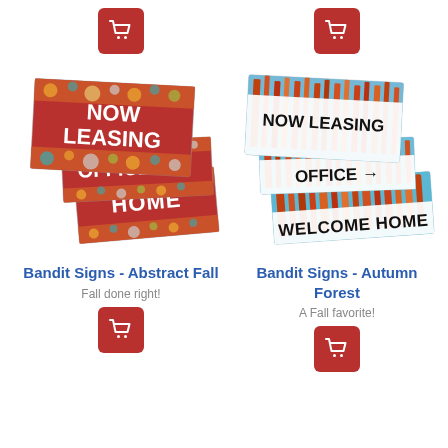[Figure (illustration): Red cart button top left]
[Figure (illustration): Red cart button top right]
[Figure (illustration): Bandit Signs Abstract Fall product image showing three overlapping signs with autumn leaf pattern: NOW LEASING, OFFICE with arrow, HOME]
[Figure (illustration): Bandit Signs Autumn Forest product image showing three overlapping signs with forest photo background: NOW LEASING, OFFICE with arrow, WELCOME HOME]
Bandit Signs - Abstract Fall
Bandit Signs - Autumn Forest
Fall done right!
A Fall favorite!
[Figure (illustration): Red cart button bottom left]
[Figure (illustration): Red cart button bottom right]